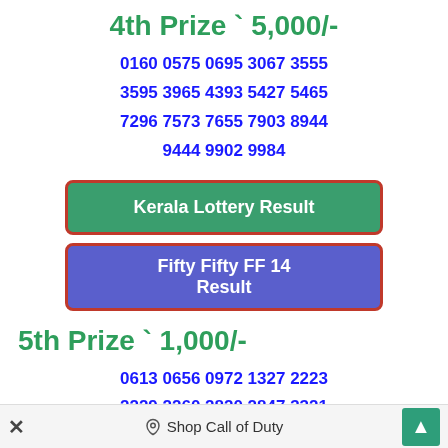4th Prize ` 5,000/-
0160 0575 0695 3067 3555
3595 3965 4393 5427 5465
7296 7573 7655 7903 8944
9444 9902 9984
Kerala Lottery Result
Fifty Fifty FF 14 Result
5th Prize ` 1,000/-
0613 0656 0972 1327 2223
2229 2260 2820 2847 3321
× Shop Call of Duty